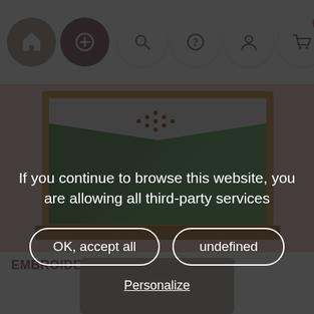[Figure (screenshot): Website navigation bar with home icon (brown circle), add icon (dark purple circle), search icon, help/question icon, user account icon, and shopping cart icon with badge showing 0]
[Figure (photo): Embroidered curtain product photo showing a wooden-framed window with a white linen curtain featuring heart embroidery pattern in dark red, with green foliage visible through the glass]
EMBROIDERED CURTAIN "COEUR"
Heart embroidered curtain available in 18 or 22.8 inches width, custom height.
If you continue to browse this website, you are allowing all third-party services
OK, accept all
undefined
Personalize